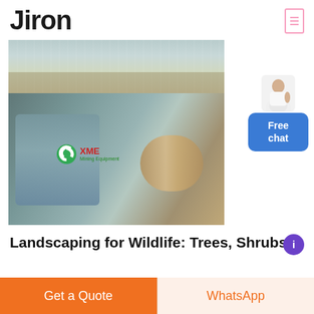Jiron
[Figure (photo): Two stacked images: top shows an industrial flooded/wet floor with water, bottom shows a large industrial motor or shaft with XME Mining Equipment logo overlay (green recycling icon, red XME text, green Mining Equipment subtext).]
Landscaping for Wildlife: Trees, Shrubs
Get a Quote
WhatsApp